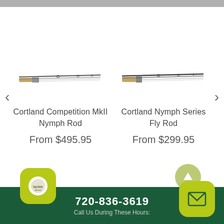[Figure (screenshot): Gray top navigation bar]
[Figure (illustration): Cortland Competition MkII Nymph Rod product image - multiple fly fishing rod sections shown horizontally]
Cortland Competition MkII Nymph Rod
From $495.95
[Figure (illustration): Cortland Nymph Series Fly Rod product image - multiple fly fishing rod sections shown horizontally]
Cortland Nymph Series Fly Rod
From $299.95
720-836-3619
Call Us During These Hours: